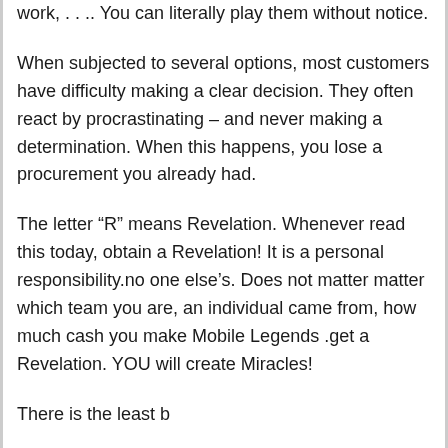work, . . .. You can literally play them without notice.
When subjected to several options, most customers have difficulty making a clear decision. They often react by procrastinating – and never making a determination. When this happens, you lose a procurement you already had.
The letter “R” means Revelation. Whenever read this today, obtain a Revelation! It is a personal responsibility.no one else’s. Does not matter matter which team you are, an individual came from, how much cash you make Mobile Legends .get a Revelation. YOU will create Miracles!
There is the least...